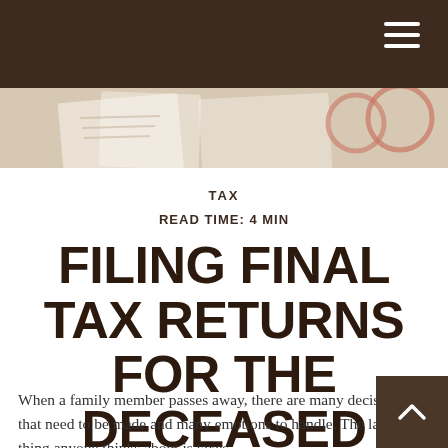[Figure (photo): Blurred background photo of tax documents and glasses on a desk]
TAX
READ TIME: 4 MIN
FILING FINAL TAX RETURNS FOR THE DECEASED
When a family member passes away, there are many decisions that need to be made and many emotions to handle. The last thing anyone thinks about is taxes.